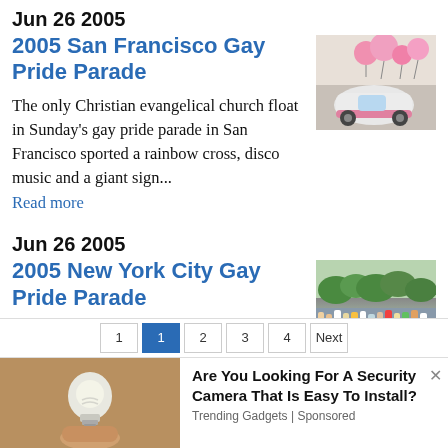Jun 26 2005
2005 San Francisco Gay Pride Parade
[Figure (photo): A small pink and white vehicle resembling a parade float with pink balloons visible above it.]
The only Christian evangelical church float in Sunday's gay pride parade in San Francisco sported a rainbow cross, disco music and a giant sign...
Read more
Jun 26 2005
2005 New York City Gay Pride Parade
[Figure (photo): A crowd of people at an outdoor event, seen from above, in front of green trees.]
Much to the delight of gay and straight New Yorkers, yesterday's steamy weather meant that there was more reason for marchers in the Gay Pride...
Read more
Are You Looking For A Security Camera That Is Easy To Install?
Trending Gadgets | Sponsored